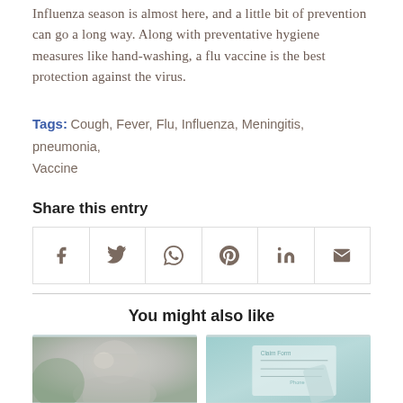Influenza season is almost here, and a little bit of prevention can go a long way. Along with preventative hygiene measures like hand-washing, a flu vaccine is the best protection against the virus.
Tags: Cough, Fever, Flu, Influenza, Meningitis, pneumonia, Vaccine
Share this entry
[Figure (other): Social share icons row: Facebook, Twitter, WhatsApp, Pinterest, LinkedIn, Email]
You might also like
[Figure (photo): Thumbnail photo of a blonde woman outdoors]
[Figure (photo): Thumbnail photo of a medical form/phone]